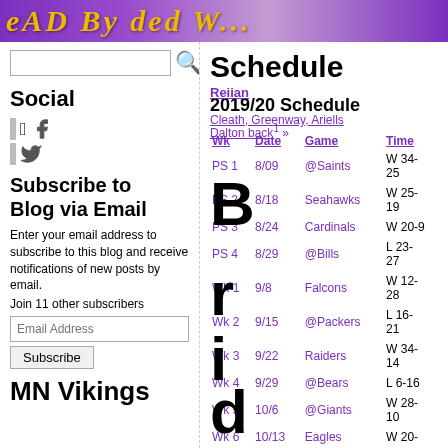Dead By Dead Wk...
Social
Subscribe to Blog via Email
Enter your email address to subscribe to this blog and receive notifications of new posts by email. Join 11 other subscribers
Schedule
2019/20 Schedule
| Wk | Date | Game | Time |
| --- | --- | --- | --- |
| PS 1 | 8/09 | @Saints | W 34-25 |
| PS 2 | 8/18 | Seahawks | W 25-19 |
| PS 3 | 8/24 | Cardinals | W 20-9 |
| PS 4 | 8/29 | @Bills | L 23-27 |
| Wk 1 | 9/8 | Falcons | W 12-28 |
| Wk 2 | 9/15 | @Packers | L 16-21 |
| Wk 3 | 9/22 | Raiders | W 34-14 |
| Wk 4 | 9/29 | @Bears | L 6-16 |
| Wk 5 | 10/6 | @Giants | W 28-10 |
| Wk 6 | 10/13 | Eagles | W 20- |
MN Vikings